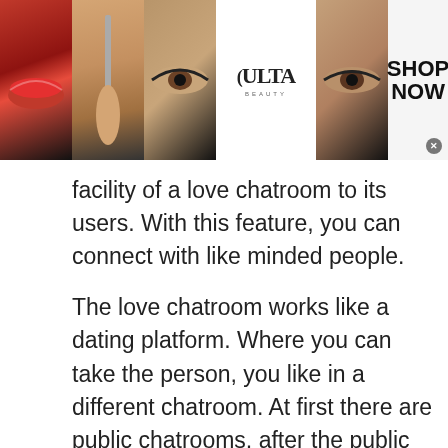[Figure (illustration): Top advertisement banner showing makeup images (red lips, makeup brush, eye with smoky makeup), ULTA Beauty logo, and 'SHOP NOW' text with close button on white background]
facility of a love chatroom to its users. With this feature, you can connect with like minded people.

The love chatroom works like a dating platform. Where you can take the person, you like in a different chatroom. At first there are public chatrooms, after the public chatroom you can take your loved one to a separate love chatroom. The purpose of love chatrooms is to bring hearts together. Further, this chatroom is very much
[Figure (illustration): Bottom advertisement banner for Women's Fashion | Shop Online | VENUS with sale image, text, venus.com URL, close button, and navigation arrow button]